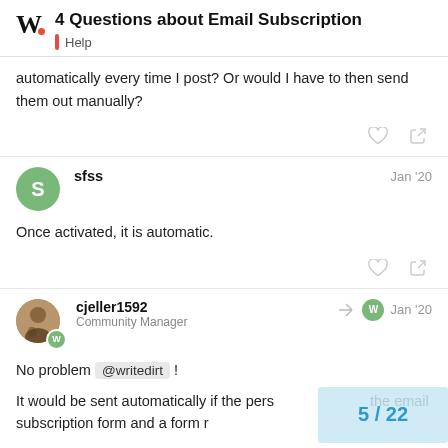4 Questions about Email Subscription | Help
automatically every time I post? Or would I have to then send them out manually?
sfss  Jan '20
Once activated, it is automatic.
cjeller1592  Community Manager  Jan '20
No problem @writedirt !
It would be sent automatically if the pers... the email subscription form and a form r...
5 / 22